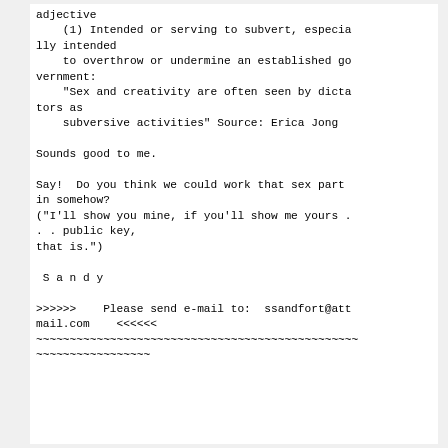adjective
    (1) Intended or serving to subvert, especially intended
    to overthrow or undermine an established government:
    "Sex and creativity are often seen by dictators as
    subversive activities" Source: Erica Jong

Sounds good to me.

Say!  Do you think we could work that sex part in somehow?
("I'll show you mine, if you'll show me yours . . . public key,
that is.")

 S a n d y

>>>>>>    Please send e-mail to:  ssandfort@attmail.com    <<<<<<
~~~~~~~~~~~~~~~~~~~~~~~~~~~~~~~~~~~~~~~~~~~~~~~~~~~~~~~~~~~~~~~~~~~~~~~~~~~~~~~~~~~~~~~~~~~~~~~~~~~~~~~~~~~~~~~~~~~~~~~~~~~~~~~